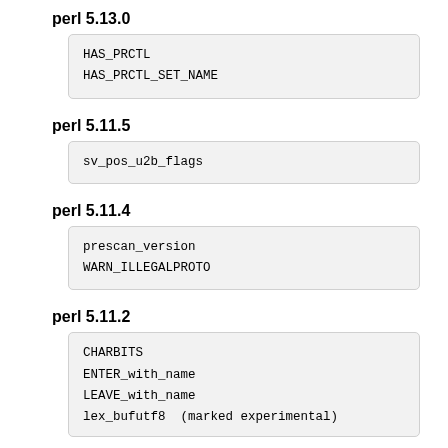perl 5.13.0
HAS_PRCTL
HAS_PRCTL_SET_NAME
perl 5.11.5
sv_pos_u2b_flags
perl 5.11.4
prescan_version
WARN_ILLEGALPROTO
perl 5.11.2
CHARBITS
ENTER_with_name
LEAVE_with_name
lex_bufutf8  (marked experimental)